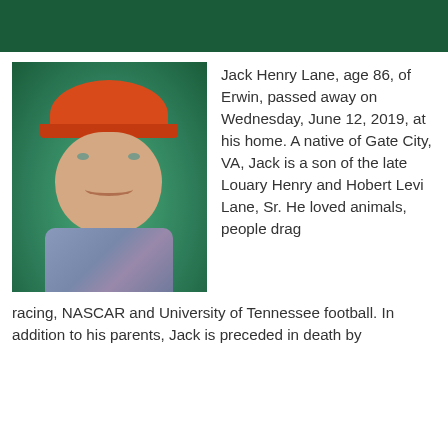[Figure (photo): Portrait photo of Jack Henry Lane, an older man wearing an orange/red baseball cap and a plaid shirt, set against a teal/green background.]
Jack Henry Lane, age 86, of Erwin, passed away on Wednesday, June 12, 2019, at his home. A native of Gate City, VA, Jack is a son of the late Louary Henry and Hobert Levi Lane, Sr. He loved animals, people drag racing, NASCAR and University of Tennessee football. In addition to his parents, Jack is preceded in death by